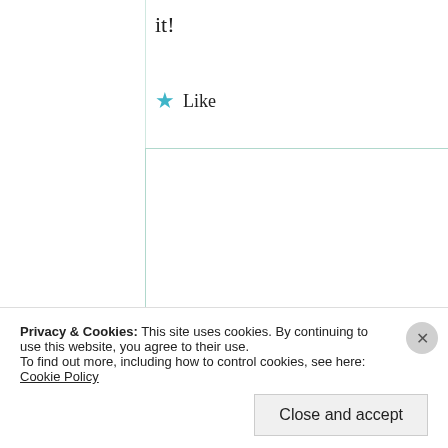it!
★ Like
Suma Reddy
11th Jul 2021 at 8:28 am
Correct baby, I totally agreed with this. Yes I
Privacy & Cookies: This site uses cookies. By continuing to use this website, you agree to their use.
To find out more, including how to control cookies, see here: Cookie Policy
Close and accept